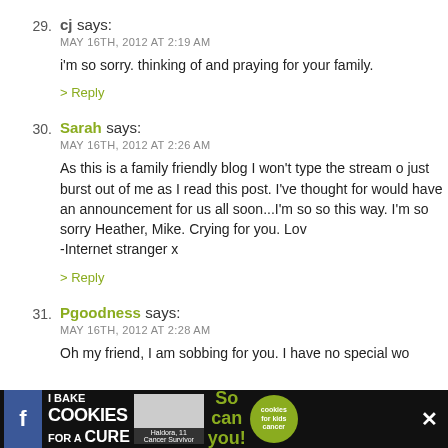29. cj says: MAY 16TH, 2012 AT 2:19 AM
i'm so sorry. thinking of and praying for your family.
> Reply
30. Sarah says: MAY 16TH, 2012 AT 2:26 AM
As this is a family friendly blog I won't type the stream of just burst out of me as I read this post. I've thought for would have an announcement for us all soon...I'm so so this way. I'm so sorry Heather, Mike. Crying for you. Lov -Internet stranger x
> Reply
31. Pgoodness says: MAY 16TH, 2012 AT 2:28 AM
Oh my friend, I am sobbing for you. I have no special wo
[Figure (screenshot): Advertisement banner: I Bake COOKIES For A CURE - Haldora, 11 Cancer Survivor. So can you! Cookies for kids cancer logo.]